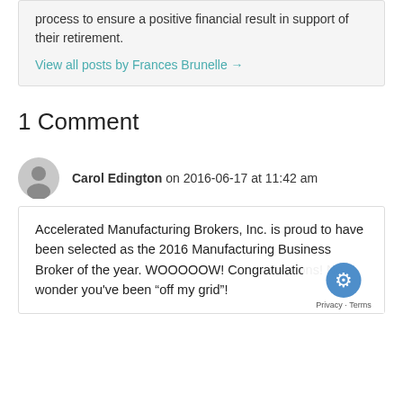process to ensure a positive financial result in support of their retirement.
View all posts by Frances Brunelle →
1 Comment
Carol Edington on 2016-06-17 at 11:42 am
Accelerated Manufacturing Brokers, Inc. is proud to have been selected as the 2016 Manufacturing Business Broker of the year. WOOOOOW! Congratulations! No wonder you've been "off my grid"!